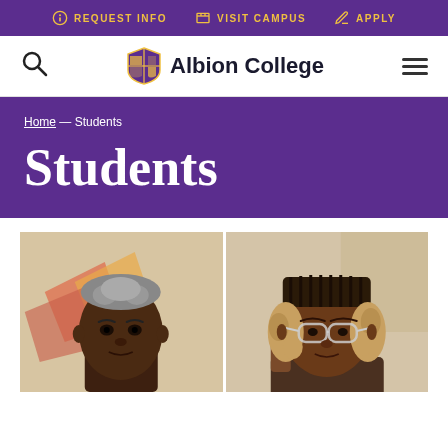REQUEST INFO  VISIT CAMPUS  APPLY
[Figure (logo): Albion College shield logo and wordmark with search icon and hamburger menu]
Home — Students
Students
[Figure (photo): Two student photos side by side: left shows a young man with short silver-tipped hair in front of colorful artwork; right shows a young woman with braids and clear-framed glasses taking a selfie]